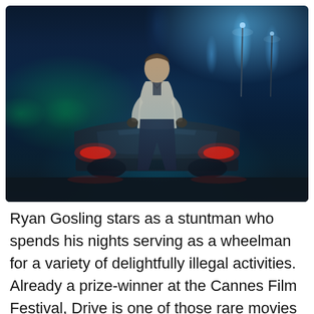[Figure (photo): Movie promotional image from 'Drive' (2011) showing a man in a light jacket standing in front of a car at night on a city street with blue-tinted lighting and red tail lights visible on the car.]
Ryan Gosling stars as a stuntman who spends his nights serving as a wheelman for a variety of delightfully illegal activities. Already a prize-winner at the Cannes Film Festival, Drive is one of those rare movies that will delight the critical community with